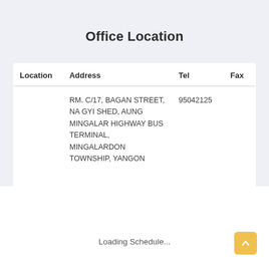Office Location
| Location | Address | Tel | Fax |
| --- | --- | --- | --- |
|  | RM. C/17, BAGAN STREET, NA GYI SHED, AUNG MINGALAR HIGHWAY BUS TERMINAL, MINGALARDON TOWNSHIP, YANGON | 95042125 |  |
Loading Schedule...